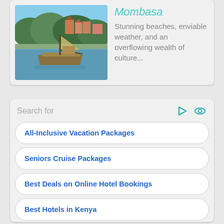[Figure (photo): Coastal waterfront scene with a traditional wooden boat moored on calm water, buildings and lush green trees visible in the background.]
Mombasa
Stunning beaches, enviable weather, and an overflowing wealth of culture...
Search for
All-Inclusive Vacation Packages
Seniors Cruise Packages
Best Deals on Online Hotel Bookings
Best Hotels in Kenya
Vacation Packages at Best Prices